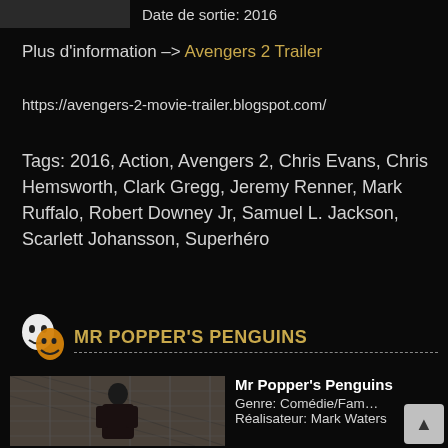Date de sortie: 2016
Plus d'information –> Avengers 2 Trailer
https://avengers-2-movie-trailer.blogspot.com/
Tags: 2016, Action, Avengers 2, Chris Evans, Chris Hemsworth, Clark Gregg, Jeremy Renner, Mark Ruffalo, Robert Downey Jr, Samuel L. Jackson, Scarlett Johansson, Superhéro
MR POPPER'S PENGUINS
[Figure (photo): Movie thumbnail for Mr Popper's Penguins showing a man in a dark coat against a chain-link fence background]
Mr Popper's Penguins
Genre: Comédie/Famille
Réalisateur: Mark Waters